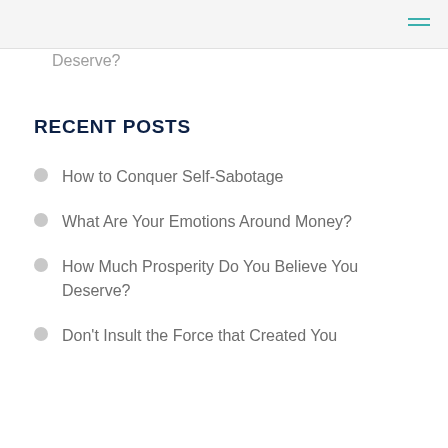Deserve?
RECENT POSTS
How to Conquer Self-Sabotage
What Are Your Emotions Around Money?
How Much Prosperity Do You Believe You Deserve?
Don't Insult the Force that Created You